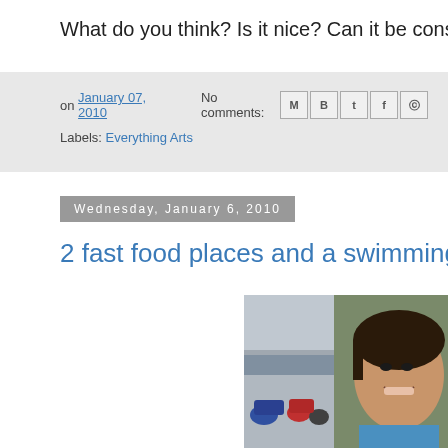What do you think? Is it nice? Can it be considered
on January 07, 2010   No comments:
Labels: Everything Arts
Wednesday, January 6, 2010
2 fast food places and a swimming pool
[Figure (photo): Two photos side by side: left shows motorcycles/scooters parked outside a building, right shows a young girl smiling at the camera]